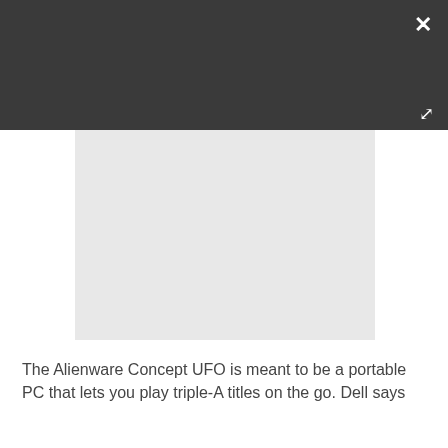[Figure (screenshot): Dark gray header bar with white X close button in top-right corner and expand/fullscreen icon in lower-right corner]
[Figure (photo): Light gray placeholder image area showing no loaded image content]
The Alienware Concept UFO is meant to be a portable PC that lets you play triple-A titles on the go. Dell says